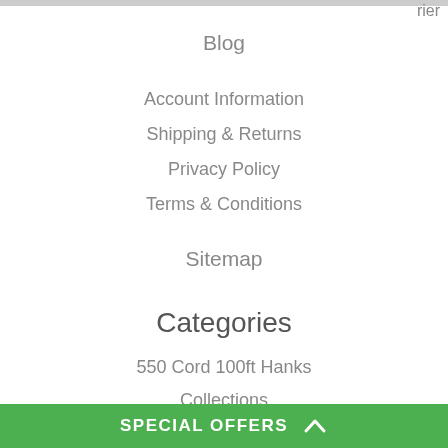rier
Blog
Account Information
Shipping & Returns
Privacy Policy
Terms & Conditions
Sitemap
Categories
550 Cord 100ft Hanks
Collections
Hardware
Craft Supplies
Gear
Paracord
Kits
Tools
SPECIAL OFFERS